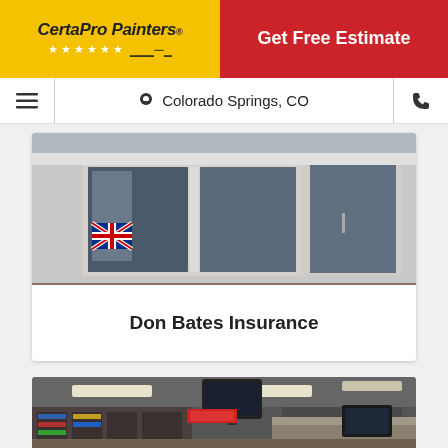[Figure (logo): CertaPro Painters logo on yellow background with stars]
Get Free Estimate
Colorado Springs, CO
[Figure (photo): Exterior storefront of Don Bates Insurance office with glass doors and UK flag]
Don Bates Insurance
[Figure (photo): Interior of a store with shelves of products and TV monitors on ceiling]